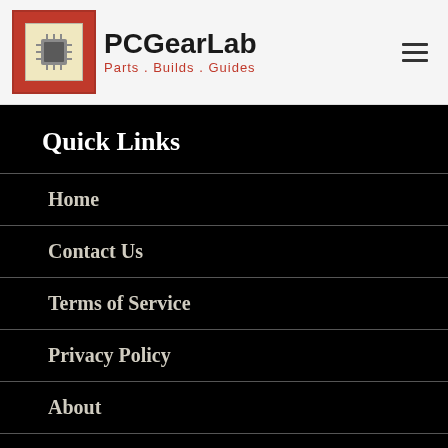[Figure (logo): PCGearLab logo with red box containing chip icon, brand name PCGearLab in bold black, tagline 'Parts . Builds . Guides' in red]
Quick Links
Home
Contact Us
Terms of Service
Privacy Policy
About
About Me